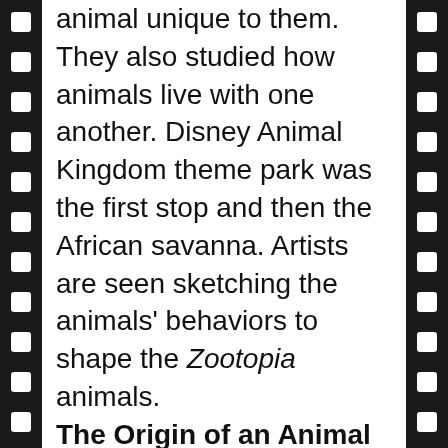animal unique to them. They also studied how animals live with one another. Disney Animal Kingdom theme park was the first stop and then the African savanna. Artists are seen sketching the animals' behaviors to shape the Zootopia animals.
The Origin of an Animal Tale – (9 minutes 16 seconds). Follows the story's development from its origins to a shift in that story that changed the entire film. The fox was initially the main character, which in time switched to the bunny. Tells of the nature between predators and prey,